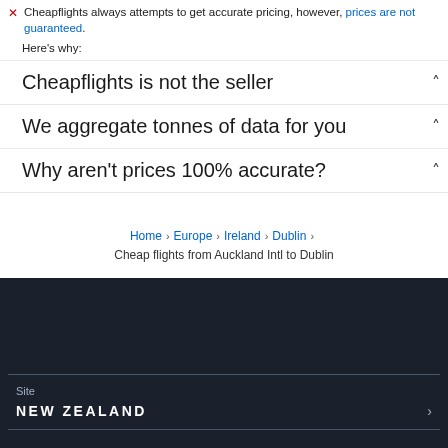Cheapflights always attempts to get accurate pricing, however, prices are not guaranteed.
Here's why:
Cheapflights is not the seller
We aggregate tonnes of data for you
Why aren't prices 100% accurate?
Home > Europe > Ireland > Dublin > Cheap flights from Auckland Intl to Dublin
Site
NEW ZEALAND